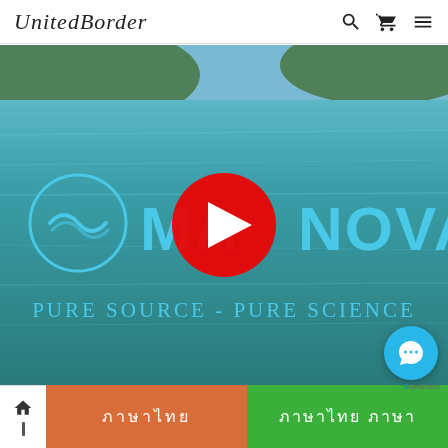UnitedBorder
[Figure (screenshot): Video thumbnail showing aerial view of blue-green ocean water with MARNOVA brand logo and text 'Pure Source - Pure Science' overlaid. A YouTube play button (red circle with white triangle) is centered on the image. The MARNOVA logo includes a circular icon with a wave motif on the left and the text MARNOVA in large teal/cyan letters.]
ภาษาไทย
ภาษาไทย ภาษาไทย